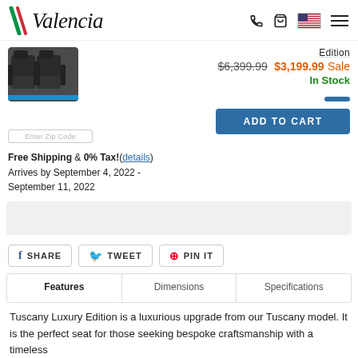Valencia
Edition
$6,399.99  $3,199.99 Sale
In Stock
Free Shipping & 0% Tax!(details)
Arrives by September 4, 2022 - September 11, 2022
ADD TO CART
SHARE  TWEET  PIN IT
Features  Dimensions  Specifications
Tuscany Luxury Edition is a luxurious upgrade from our Tuscany model. It is the perfect seat for those seeking bespoke craftsmanship with a timeless